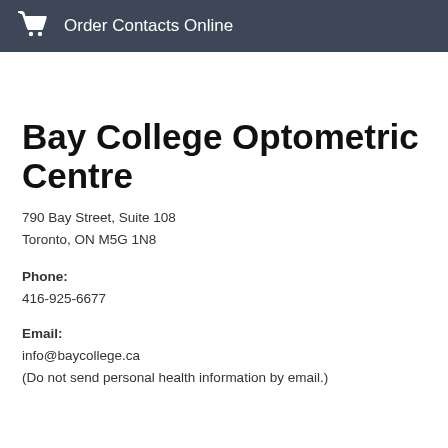Order Contacts Online
Bay College Optometric Centre
790 Bay Street, Suite 108
Toronto, ON M5G 1N8
Phone:
416-925-6677
Email:
info@baycollege.ca
(Do not send personal health information by email.)